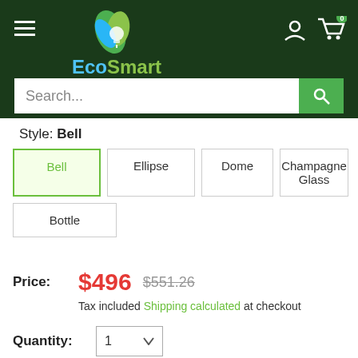[Figure (logo): EcoSmart Lighting logo with green flame and lightbulb icon, blue and green text]
Search...
Style: Bell
Bell
Ellipse
Dome
Champagne Glass
Bottle
Price: $496  $551.26  Tax included Shipping calculated at checkout
Quantity: 1